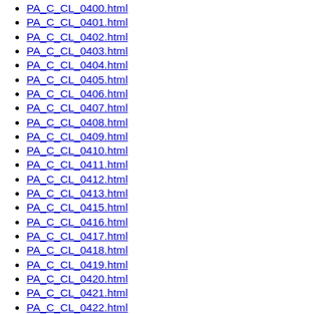PA_C_CL_0400.html
PA_C_CL_0401.html
PA_C_CL_0402.html
PA_C_CL_0403.html
PA_C_CL_0404.html
PA_C_CL_0405.html
PA_C_CL_0406.html
PA_C_CL_0407.html
PA_C_CL_0408.html
PA_C_CL_0409.html
PA_C_CL_0410.html
PA_C_CL_0411.html
PA_C_CL_0412.html
PA_C_CL_0413.html
PA_C_CL_0415.html
PA_C_CL_0416.html
PA_C_CL_0417.html
PA_C_CL_0418.html
PA_C_CL_0419.html
PA_C_CL_0420.html
PA_C_CL_0421.html
PA_C_CL_0422.html
PA_C_CL_0423.html
PA_C_CL_0424.html
PA_C_CL_0425.html